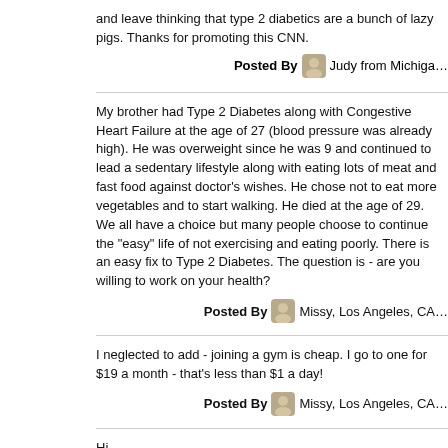and leave thinking that type 2 diabetics are a bunch of lazy pigs. Thanks for promoting this CNN.
Posted By Judy from Michigan
My brother had Type 2 Diabetes along with Congestive Heart Failure at the age of 27 (blood pressure was already high). He was overweight since he was 9 and continued to lead a sedentary lifestyle along with eating lots of meat and fast food against doctor's wishes. He chose not to eat more vegetables and to start walking. He died at the age of 29. We all have a choice but many people choose to continue the "easy" life of not exercising and eating poorly. There is an easy fix to Type 2 Diabetes. The question is - are you willing to work on your health?
Posted By Missy, Los Angeles, CA
I neglected to add - joining a gym is cheap. I go to one for $19 a month - that's less than $1 a day!
Posted By Missy, Los Angeles, CA
Hi,
As a social worker in a dialysis unit I see what devastation long-term diabetes and hy